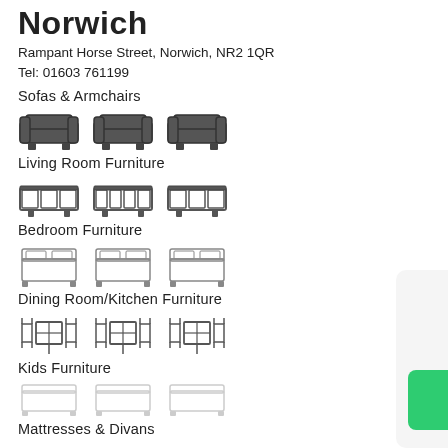Norwich
Rampant Horse Street, Norwich, NR2 1QR
Tel: 01603 761199
Sofas & Armchairs
[Figure (illustration): Three sofa/armchair icons]
Living Room Furniture
[Figure (illustration): Three living room furniture (TV cabinet/sideboard) icons]
Bedroom Furniture
[Figure (illustration): Three bedroom furniture (bed) icons]
Dining Room/Kitchen Furniture
[Figure (illustration): Three dining table and chairs icons]
Kids Furniture
[Figure (illustration): Three kids furniture (small bed/cot) icons]
Mattresses & Divans
[Figure (illustration): Three mattress icons]